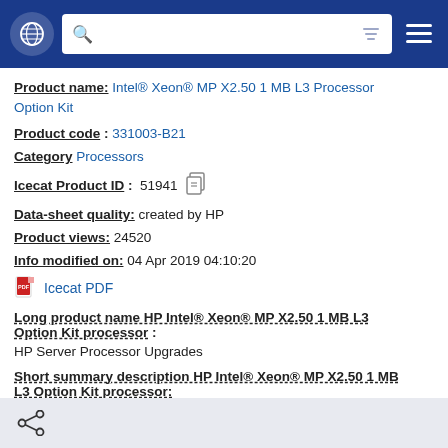Navigation bar with globe icon, search bar, and menu
Product name: Intel® Xeon® MP X2.50 1 MB L3 Processor Option Kit
Product code : 331003-B21
Category Processors
Icecat Product ID : 51941
Data-sheet quality: created by HP
Product views: 24520
Info modified on: 04 Apr 2019 04:10:20
Icecat PDF
Long product name HP Intel® Xeon® MP X2.50 1 MB L3 Option Kit processor : HP Server Processor Upgrades
Short summary description HP Intel® Xeon® MP X2.50 1 MB L3 Option Kit processor: